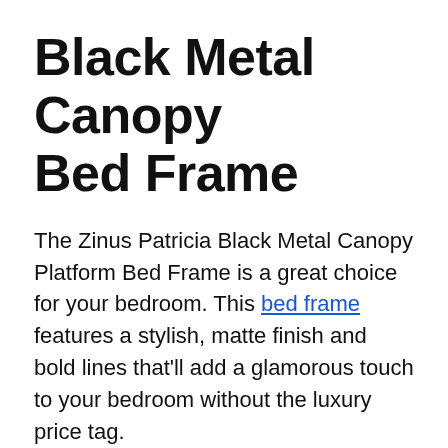Black Metal Canopy Bed Frame
The Zinus Patricia Black Metal Canopy Platform Bed Frame is a great choice for your bedroom. This bed frame features a stylish, matte finish and bold lines that'll add a glamorous touch to your bedroom without the luxury price tag.
The bed frame is made with an attractive, matte finish and bold lines that'll add a glamorous touch